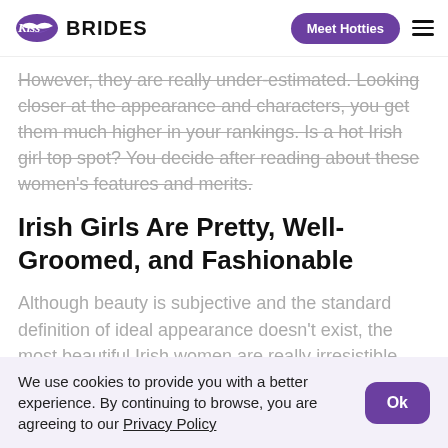Kiss Brides | Meet Hotties
However, they are really under-estimated. Looking closer at the appearance and characters, you get them much higher in your rankings. Is a hot Irish girl top spot? You decide after reading about these women's features and merits.
Irish Girls Are Pretty, Well-Groomed, and Fashionable
Although beauty is subjective and the standard definition of ideal appearance doesn't exist, the most beautiful Irish women are really irresistible. Actually,
We use cookies to provide you with a better experience. By continuing to browse, you are agreeing to our Privacy Policy